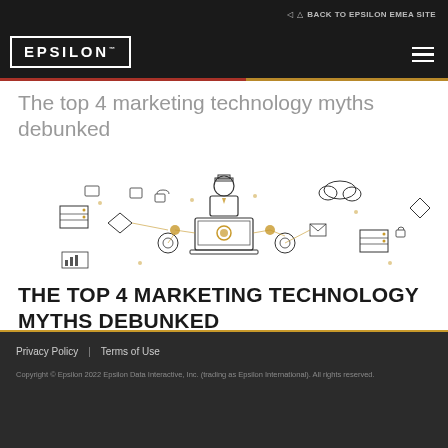BACK TO EPSILON EMEA SITE
[Figure (logo): Epsilon logo in white text within a white rectangle border on black background]
The top 4 marketing technology myths debunked
[Figure (illustration): Line art illustration of a person at a laptop surrounded by connected marketing technology icons including servers, cloud, email, charts, and various digital marketing symbols with gold accent circles]
THE TOP 4 MARKETING TECHNOLOGY MYTHS DEBUNKED
Privacy Policy | Terms of Use
Copyright © Epsilon 2022 Epsilon Data Interactive, Inc. (trading as Epsilon International). All rights reserved.